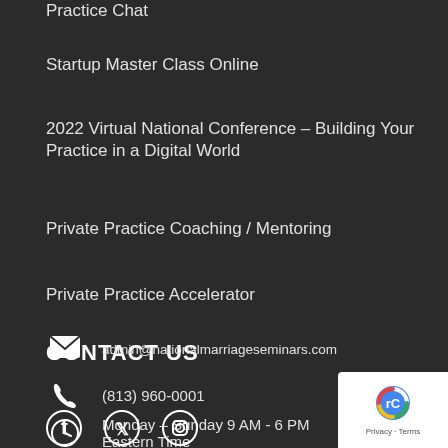Practice Chat
Startup Master Class Online
2022 Virtual National Conference – Building Your Practice in a Digital World
Private Practice Coaching / Mentoring
Private Practice Accelerator
CONTACT US
(813) 960-0001
Monday – Sunday 9 AM - 6 PM Eastern Time
admin@nationalmarriageseminars.com
[Figure (logo): reCAPTCHA badge with Privacy and Terms text]
[Figure (illustration): Social media icons for Facebook, Twitter, Instagram]